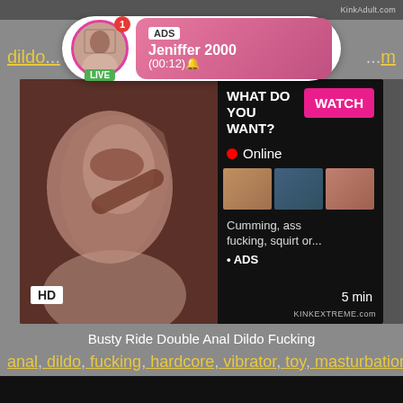[Figure (screenshot): Top image strip with KinkAdult.com watermark]
[Figure (infographic): Notification bubble: ADS, Jeniffer 2000, (00:12) with avatar, LIVE badge]
dildo... m...
[Figure (screenshot): Video thumbnail with embedded ad overlay showing WHAT DO YOU WANT? WATCH button, Online status, thumbnails, Cumming, ass fucking, squirt or... ADS. HD badge, 5 min duration, KinkExtreme.com watermark]
Busty Ride Double Anal Dildo Fucking
anal, dildo, fucking, hardcore, vibrator, toy, masturbation,...
[Figure (photo): Bottom dark strip/preview]